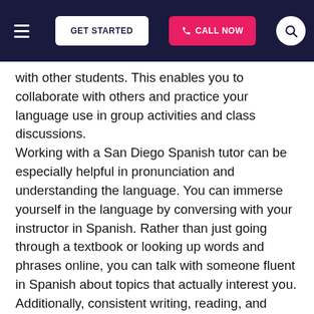GET STARTED | CALL NOW | [search]
with other students. This enables you to collaborate with others and practice your language use in group activities and class discussions.
Working with a San Diego Spanish tutor can be especially helpful in pronunciation and understanding the language. You can immerse yourself in the language by conversing with your instructor in Spanish. Rather than just going through a textbook or looking up words and phrases online, you can talk with someone fluent in Spanish about topics that actually interest you. Additionally, consistent writing, reading, and speaking is vital when it comes to being able to retain your Spanish skills. As such, working in a supportive environment that can offer plenty of opportunities to practice your language skills can go a long way in assisting you towards your goals.